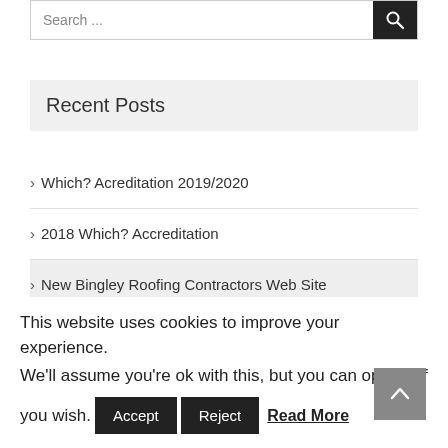Search ...
Recent Posts
> Which? Acreditation 2019/2020
> 2018 Which? Accreditation
> New Bingley Roofing Contractors Web Site
This website uses cookies to improve your experience. We'll assume you're ok with this, but you can opt-out if you wish.
Accept | Reject | Read More